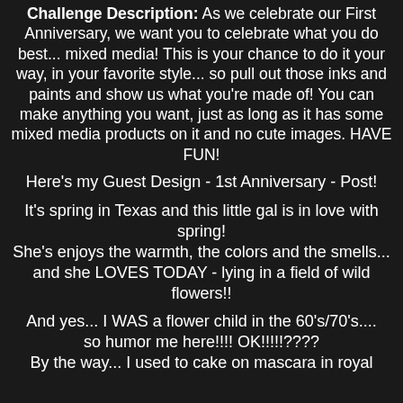Challenge Description: As we celebrate our First Anniversary, we want you to celebrate what you do best... mixed media! This is your chance to do it your way, in your favorite style... so pull out those inks and paints and show us what you're made of! You can make anything you want, just as long as it has some mixed media products on it and no cute images. HAVE FUN!
Here's my Guest Design - 1st Anniversary - Post!
It's spring in Texas and this little gal is in love with spring! She's enjoys the warmth, the colors and the smells... and she LOVES TODAY - lying in a field of wild flowers!!
And yes... I WAS a flower child in the 60's/70's.... so humor me here!!!! OK!!!!!???? By the way... I used to cake on mascara in royal